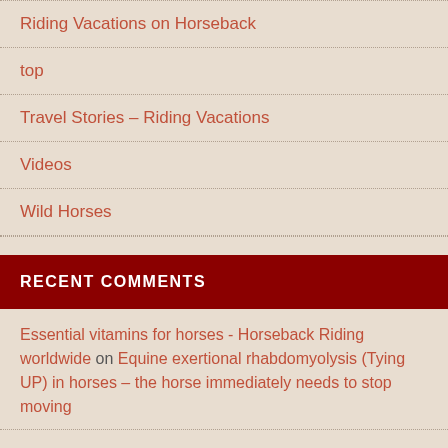Riding Vacations on Horseback
top
Travel Stories – Riding Vacations
Videos
Wild Horses
RECENT COMMENTS
Essential vitamins for horses - Horseback Riding worldwide on Equine exertional rhabdomyolysis (Tying UP) in horses – the horse immediately needs to stop moving
Apples, carrots, sugar beets- useful tips for the right